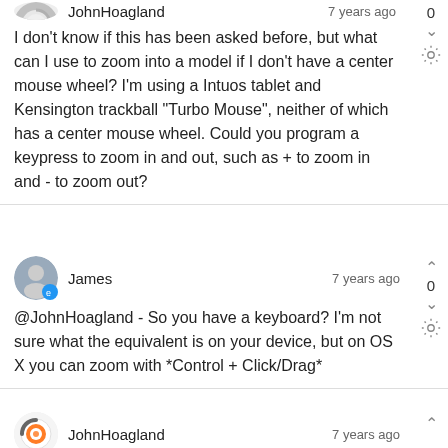JohnHoagland · 7 years ago

I don't know if this has been asked before, but what can I use to zoom into a model if I don't have a center mouse wheel? I'm using a Intuos tablet and Kensington trackball "Turbo Mouse", neither of which has a center mouse wheel. Could you program a keypress to zoom in and out, such as + to zoom in and - to zoom out?
James · 7 years ago

@JohnHoagland - So you have a keyboard? I'm not sure what the equivalent is on your device, but on OS X you can zoom with *Control + Click/Drag*
JohnHoagland · 7 years ago